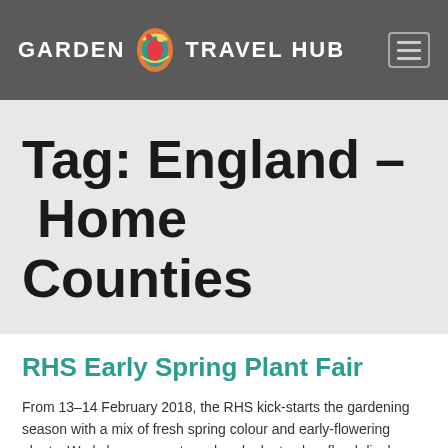GARDEN TRAVEL HUB
Tag: England – Home Counties
RHS Early Spring Plant Fair
From 13–14 February 2018, the RHS kick-starts the gardening season with a mix of fresh spring colour and early-flowering plants. Workshops, experts on hand, plant sales, floral displays, garden designers.
12 February from 5pm-9pm; 13 February from 11am-